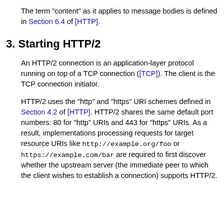The term "content" as it applies to message bodies is defined in Section 6.4 of [HTTP].
3. Starting HTTP/2
An HTTP/2 connection is an application-layer protocol running on top of a TCP connection ([TCP]). The client is the TCP connection initiator.
HTTP/2 uses the "http" and "https" URI schemes defined in Section 4.2 of [HTTP]. HTTP/2 shares the same default port numbers: 80 for "http" URIs and 443 for "https" URIs. As a result, implementations processing requests for target resource URIs like http://example.org/foo or https://example.com/bar are required to first discover whether the upstream server (the immediate peer to which the client wishes to establish a connection) supports HTTP/2.